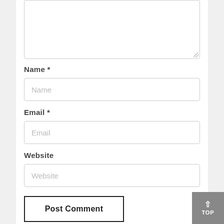[Textarea comment box — top of page]
Name *
Email *
Website
Post Comment